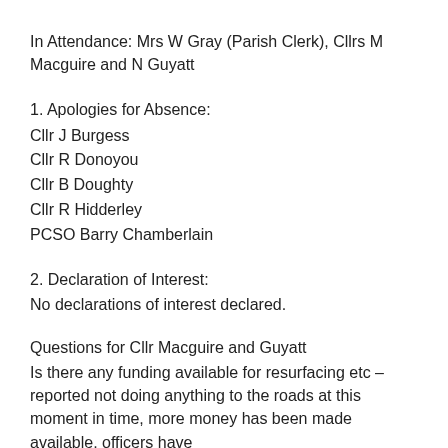In Attendance: Mrs W Gray (Parish Clerk), Cllrs M Macguire and N Guyatt
1. Apologies for Absence:
Cllr J Burgess
Cllr R Donoyou
Cllr B Doughty
Cllr R Hidderley
PCSO Barry Chamberlain
2. Declaration of Interest:
No declarations of interest declared.
Questions for Cllr Macguire and Guyatt
Is there any funding available for resurfacing etc – reported not doing anything to the roads at this moment in time, more money has been made available, officers have